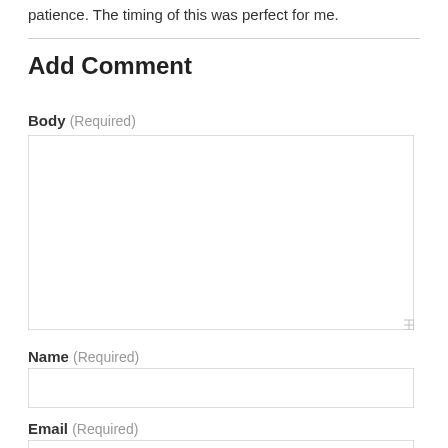patience. The timing of this was perfect for me.
Add Comment
Body (Required)
Name (Required)
Email (Required)